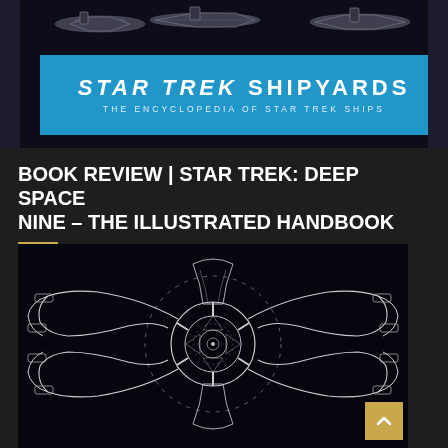[Figure (screenshot): Star Trek Shipyards book cover showing spacecraft silhouettes on dark background with blue banner reading STAR TREK SHIPYARDS - THE ENCYCLOPEDIA OF STAR TREK SHIPS]
BOOK REVIEW | STAR TREK: DEEP SPACE NINE – THE ILLUSTRATED HANDBOOK
[Figure (illustration): Technical schematic top-down view of Deep Space Nine space station in white line art on dark/black background, showing the circular hub, radial pylons, and curved docking arms]